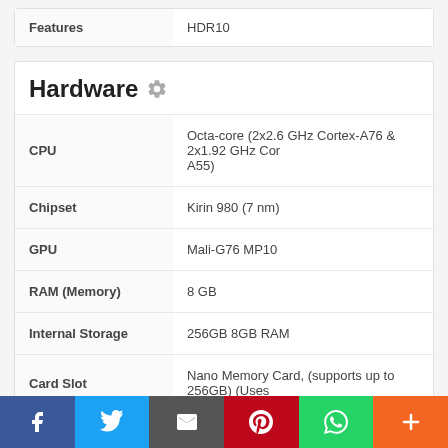| Features |  |
| --- | --- |
| Features | HDR10 |
Hardware
| Spec | Value |
| --- | --- |
| CPU | Octa-core (2x2.6 GHz Cortex-A76 & 2x1.92 GHz Cortex-A55) |
| Chipset | Kirin 980 (7 nm) |
| GPU | Mali-G76 MP10 |
| RAM (Memory) | 8 GB |
| Internal Storage | 256GB 8GB RAM |
| Card Slot | Nano Memory Card, (supports up to 256GB) (Uses |
| Sensors | Fingerprint (under display, optical), accelerometer, spectrum |